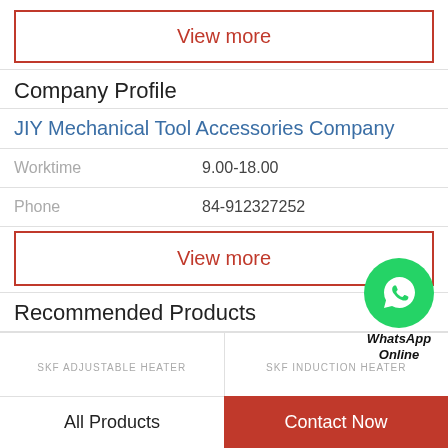View more
Company Profile
JIY Mechanical Tool Accessories Company
| Worktime | 9.00-18.00 |
| Phone | 84-912327252 |
[Figure (illustration): WhatsApp green phone icon circle with WhatsApp Online label below]
View more
Recommended Products
[Figure (screenshot): Two product thumbnails: SKF ADJUSTABLE HEATER and SKF INDUCTION HEATER]
All Products
Contact Now